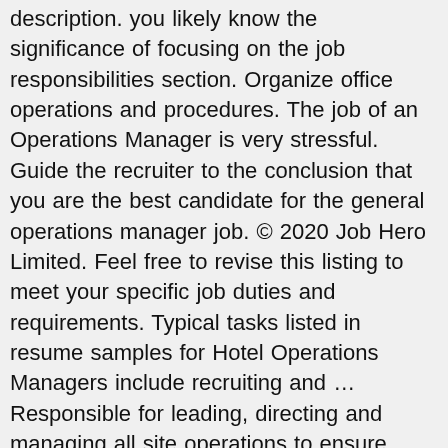description. you likely know the significance of focusing on the job responsibilities section. Organize office operations and procedures. The job of an Operations Manager is very stressful. Guide the recruiter to the conclusion that you are the best candidate for the general operations manager job. © 2020 Job Hero Limited. Feel free to revise this listing to meet your specific job duties and requirements. Typical tasks listed in resume samples for Hotel Operations Managers include recruiting and … Responsible for leading, directing and managing all site operations to ensure consistently high levels of service, profitability and compliance. When writing your resume, be sure to reference the job description and highlight any skills, awards and certifications that match with the requirements. Companies understand the pressures an Operations Manager goes through and often times, the amount of money may not be enough to offset the challenges and risks that come with it. Marketing operations managers accomplish the marketing objectives of the company. Operations Manager Job Descriptions, Responsibilities and duty Examples. Spice it up with a